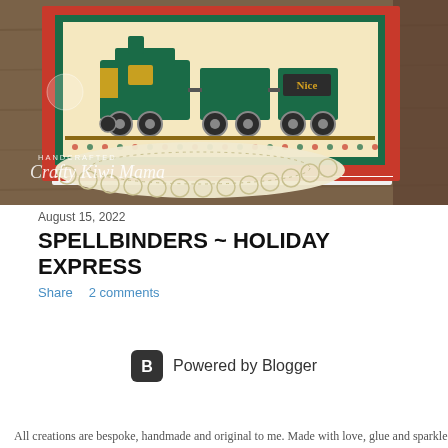[Figure (photo): A handcrafted Christmas card featuring a green train on a red background, displayed on a wooden surface with a cream doily underneath. Watermark reads 'HANDCRAFTED Crafty Kiwi Mama' in script.]
August 15, 2022
SPELLBINDERS ~ HOLIDAY EXPRESS
Share   2 comments
Powered by Blogger
All creations are bespoke, handmade and original to me. Made with love, glue and sparkle